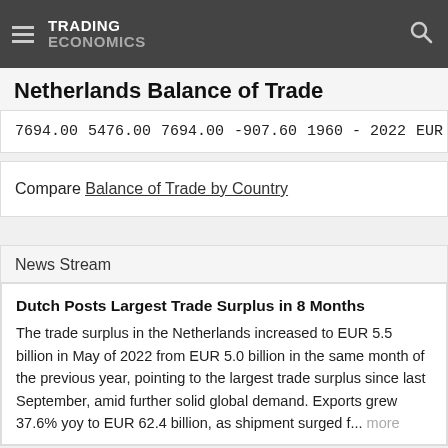TRADING ECONOMICS
Netherlands Balance of Trade
| 7694.00 | 5476.00 | 7694.00 | -907.60 | 1960 - 2022 | EUR |
Compare Balance of Trade by Country
News Stream
Dutch Posts Largest Trade Surplus in 8 Months
The trade surplus in the Netherlands increased to EUR 5.5 billion in May of 2022 from EUR 5.0 billion in the same month of the previous year, pointing to the largest trade surplus since last September, amid further solid global demand. Exports grew 37.6% yoy to EUR 62.4 billion, as shipment surged f... more